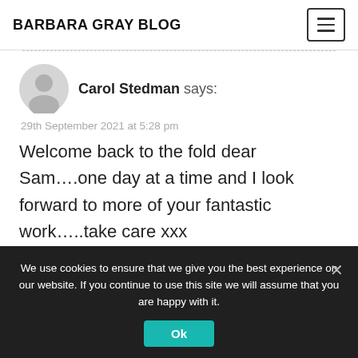BARBARA GRAY BLOG
Carol Stedman says:
29th September 2021 at 5:28 pm
Welcome back to the fold dear Sam….one day at a time and I look forward to more of your fantastic work…..take care xxx
We use cookies to ensure that we give you the best experience on our website. If you continue to use this site we will assume that you are happy with it. Ok